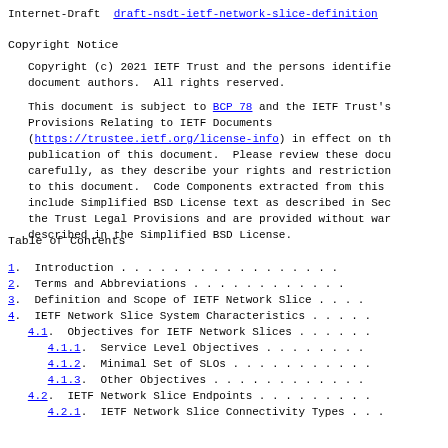Internet-Draft   draft-nsdt-ietf-network-slice-definition
Copyright Notice
Copyright (c) 2021 IETF Trust and the persons identified as the document authors.  All rights reserved.
This document is subject to BCP 78 and the IETF Trust's Provisions Relating to IETF Documents (https://trustee.ietf.org/license-info) in effect on the publication of this document.  Please review these documents carefully, as they describe your rights and restrictions with respect to this document.  Code Components extracted from this document include Simplified BSD License text as described in Section 4.e of the Trust Legal Provisions and are provided without warranty as described in the Simplified BSD License.
Table of Contents
1.  Introduction . . . . . . . . . . . . . . . . .
2.  Terms and Abbreviations . . . . . . . . . . . .
3.  Definition and Scope of IETF Network Slice . . .
4.  IETF Network Slice System Characteristics . . . .
4.1.  Objectives for IETF Network Slices . . . . . .
4.1.1.  Service Level Objectives . . . . . . . .
4.1.2.  Minimal Set of SLOs . . . . . . . . . . .
4.1.3.  Other Objectives . . . . . . . . . . . .
4.2.  IETF Network Slice Endpoints . . . . . . . . .
4.2.1.  IETF Network Slice Connectivity Types . . .